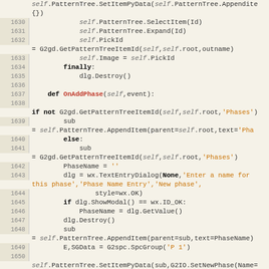Code listing lines 1630-1653, Python source code showing OnAddPhase and OnDeletePhase methods
[Figure (screenshot): Python source code editor view showing lines 1630-1653 with syntax highlighting. Line numbers in beige left column, code in monospace font with keywords in bold, function names in red, strings in orange, self references in gray italic.]